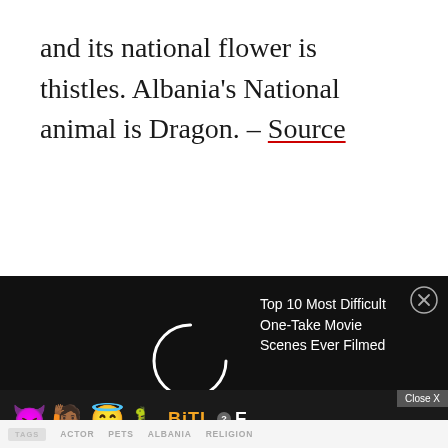and its national flower is thistles. Albania's National animal is Dragon. – Source
[Figure (screenshot): Video player overlay on dark/black background showing a loading spinner on the left and text 'Top 10 Most Difficult One-Take Movie Scenes Ever Filmed' on the right, with a close (X) button in the top right corner.]
[Figure (screenshot): Advertisement banner at bottom showing 'Close X' button and BitLife 'Real Choices' game ad with emoji characters (devil, person, angel) and a sperm emoji logo.]